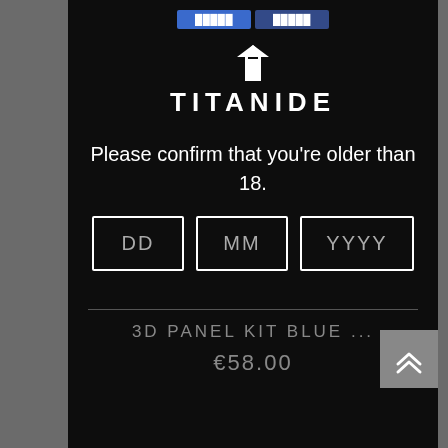[Figure (logo): TITANIDE brand logo with arrow/T icon above text]
Please confirm that you're older than 18.
[Figure (screenshot): Date input fields: DD | MM | YYYY]
3D PANEL KIT BLUE ...
€58.00